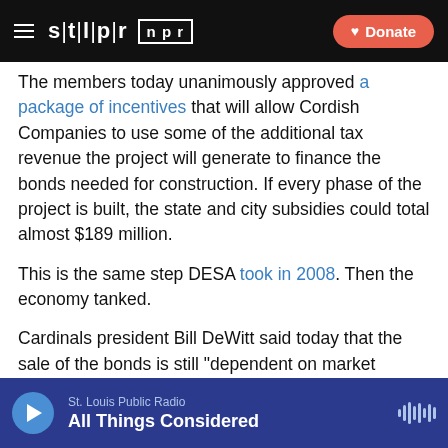stl|pr  npr  Donate
The members today unanimously approved a package of incentives that will allow Cordish Companies to use some of the additional tax revenue the project will generate to finance the bonds needed for construction. If every phase of the project is built, the state and city subsidies could total almost $189 million.
This is the same step DESA took in 2008. Then the economy tanked.
Cardinals president Bill DeWitt said today that the sale of the bonds is still "dependent on market conditions." It sounds a lot like something he told the St. Louis Post-Dispatch back then.
St. Louis Public Radio  All Things Considered